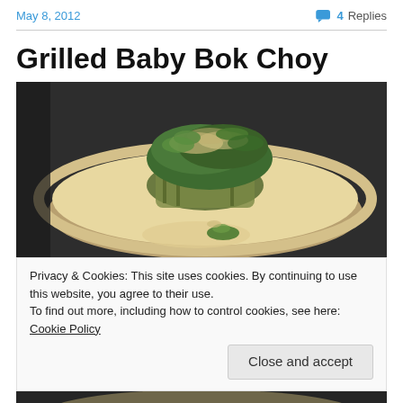May 8, 2012   💬 4 Replies
Grilled Baby Bok Choy
[Figure (photo): Food photo of grilled baby bok choy on a white plate, topped with chopped greens and garnishes, dark background]
Privacy & Cookies: This site uses cookies. By continuing to use this website, you agree to their use.
To find out more, including how to control cookies, see here: Cookie Policy
[Figure (photo): Bottom portion of another food photo, dark background visible]